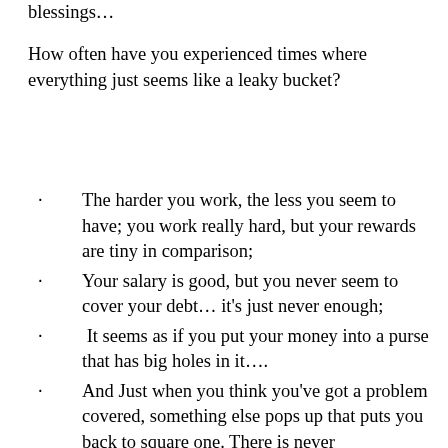blessings…
How often have you experienced times where everything just seems like a leaky bucket?
The harder you work, the less you seem to have; you work really hard, but your rewards are tiny in comparison;
Your salary is good, but you never seem to cover your debt… it's just never enough;
It seems as if you put your money into a purse that has big holes in it….
And Just when you think you've got a problem covered, something else pops up that puts you back to square one. There is never